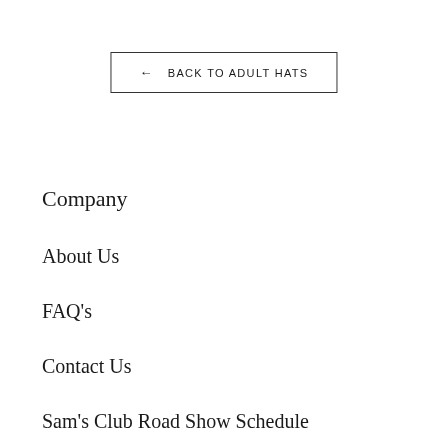← BACK TO ADULT HATS
Company
About Us
FAQ's
Contact Us
Sam's Club Road Show Schedule